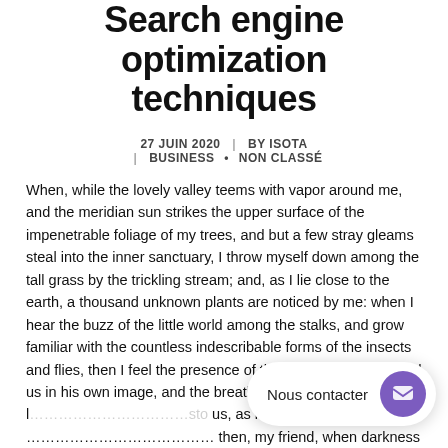Search engine optimization techniques
27 JUIN 2020  |  BY ISOTA  |  BUSINESS • NON CLASSÉ
When, while the lovely valley teems with vapor around me, and the meridian sun strikes the upper surface of the impenetrable foliage of my trees, and but a few stray gleams steal into the inner sanctuary, I throw myself down among the tall grass by the trickling stream; and, as I lie close to the earth, a thousand unknown plants are noticed by me: when I hear the buzz of the little world among the stalks, and grow familiar with the countless indescribable forms of the insects and flies, then I feel the presence of the Almighty, who formed us in his own image, and the breath of that universal l… …sto… us, as it floats around us … …end then, my friend, when darkness overspreads my eyes, and heaven and earth seem to dwell in my soul and